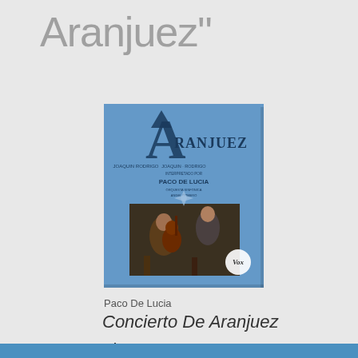Aranjuez"
[Figure (photo): Album cover for 'Concierto De Aranjuez' by Paco De Lucia. Blue cover with 'Aranjuez' text and a photo of musicians playing guitar.]
Paco De Lucia
Concierto De Aranjuez
The Story
"Concierto De Aranjuez" matches